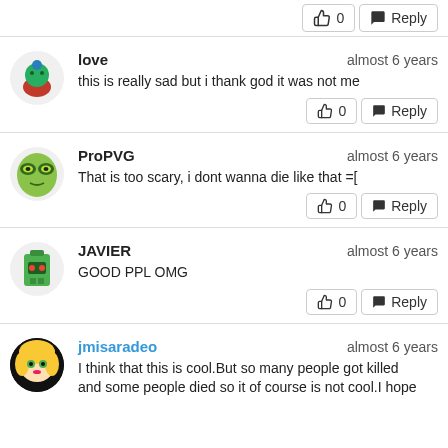👍 0  Reply (top action bar)
love · almost 6 years · this is really sad but i thank god it was not me · 👍 0 Reply
ProPVG · almost 6 years · That is too scary, i dont wanna die like that =[ · 👍 0 Reply
JAVIER · almost 6 years · GOOD PPL OMG · 👍 0 Reply
jmisaradeo · almost 6 years · I think that this is cool.But so many people got killed and some people died so it of course is not cool.I hope